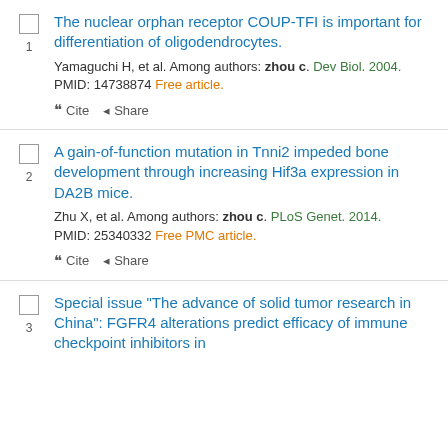The nuclear orphan receptor COUP-TFI is important for differentiation of oligodendrocytes. Yamaguchi H, et al. Among authors: zhou c. Dev Biol. 2004. PMID: 14738874 Free article.
A gain-of-function mutation in Tnni2 impeded bone development through increasing Hif3a expression in DA2B mice. Zhu X, et al. Among authors: zhou c. PLoS Genet. 2014. PMID: 25340332 Free PMC article.
Special issue "The advance of solid tumor research in China": FGFR4 alterations predict efficacy of immune checkpoint inhibitors in